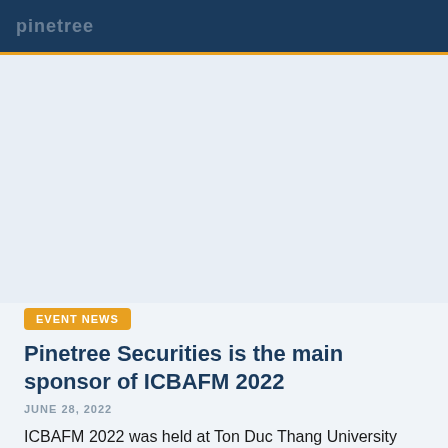pinetree
[Figure (photo): Large image area showing a conference or event related to ICBAFM 2022, appears light blue/grey placeholder]
EVENT NEWS
Pinetree Securities is the main sponsor of ICBAFM 2022
JUNE 28, 2022
ICBAFM 2022 was held at Ton Duc Thang University from June 23-24, 2022. This is a forum for scientific information exchange, technology